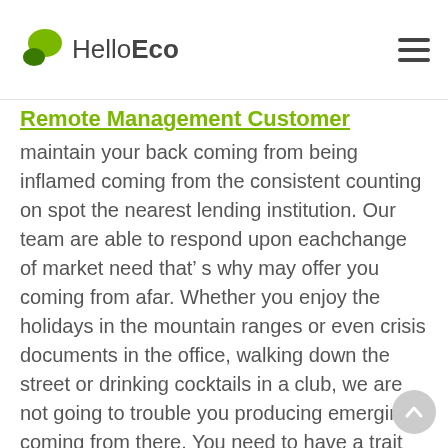HelloEco
Remote Management Customer
maintain your back coming from being inflamed coming from the consistent counting on spot the nearest lending institution. Our team are able to respond upon eachchange of market need that’ s why may offer you coming from afar. Whether you enjoy the holidays in the mountain ranges or even crisis documents in the office, walking down the street or drinking cocktails in a club, we are not going to trouble you producing emerging coming from there. You need to have a trait that is actually regularly withyou (a laptop computer or other tool) as well as a factor that is consistently surrounding (fast Web). Simply send an ask for, get a good reply